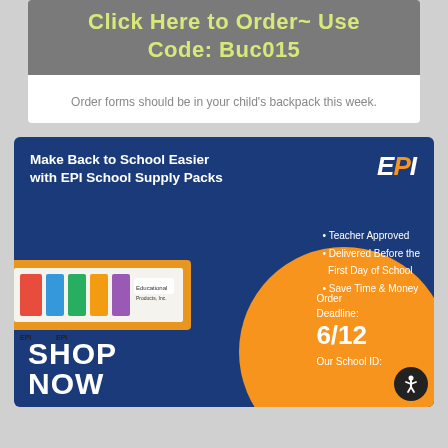Click Here to Order~ Use Code: Buc015
Order forms should be in your child's backpack this week.
[Figure (infographic): EPI School Supply Packs advertisement with blue background, school supply box image, bullet points listing Teacher Approved, Delivered Before the First Day of School, Save Time & Money, orange circle graphic, SHOP NOW text, Order Deadline 6/12, and Our School ID fields.]